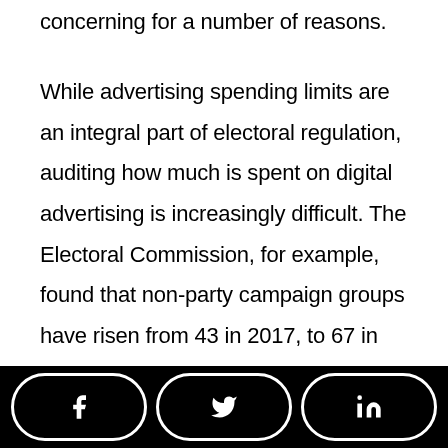concerning for a number of reasons.
While advertising spending limits are an integral part of electoral regulation, auditing how much is spent on digital advertising is increasingly difficult. The Electoral Commission, for example, found that non-party campaign groups have risen from 43 in 2017, to 67 in 2019. According to the Financial Times, back in December 2019, these shadow groups had a combined
[Figure (infographic): Social media share buttons for Facebook, Twitter, and LinkedIn on a black background bar at the bottom of the page]